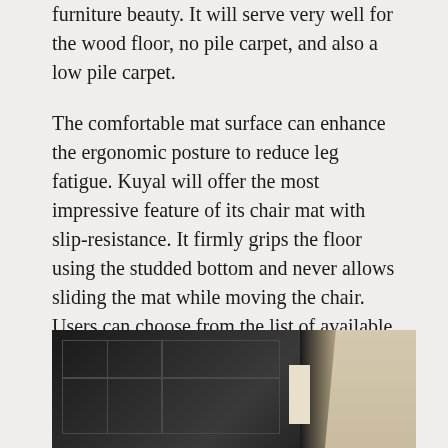furniture beauty. It will serve very well for the wood floor, no pile carpet, and also a low pile carpet.
The comfortable mat surface can enhance the ergonomic posture to reduce leg fatigue. Kuyal will offer the most impressive feature of its chair mat with slip-resistance. It firmly grips the floor using the studded bottom and never allows sliding the mat while moving the chair. Users can choose from the list of available three different sizes and two different designs. It is also available to utilize the lip variant. Select the best one to fulfill your requirements with a superb & high-quality chair mat.
[Figure (photo): Photo of a black chair mat on a light-colored floor/carpet, showing the dark surface with grid-like texture and a visible edge where it meets the floor.]